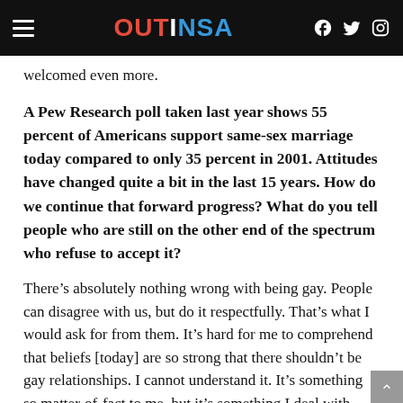OUTINSA
welcomed even more.
A Pew Research poll taken last year shows 55 percent of Americans support same-sex marriage today compared to only 35 percent in 2001. Attitudes have changed quite a bit in the last 15 years. How do we continue that forward progress? What do you tell people who are still on the other end of the spectrum who refuse to accept it?
There’s absolutely nothing wrong with being gay. People can disagree with us, but do it respectfully. That’s what I would ask for from them. It’s hard for me to comprehend that beliefs [today] are so strong that there shouldn’t be gay relationships. I cannot understand it. It’s something so matter-of-fact to me, but it’s something I deal with every day, especially in Hispanic